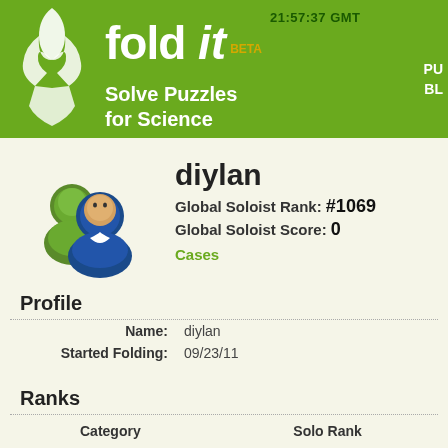fold it BETA — Solve Puzzles for Science — 21:57:37 GMT
diylan
Global Soloist Rank: #1069
Global Soloist Score: 0
Cases
Profile
| Field | Value |
| --- | --- |
| Name: | diylan |
| Started Folding: | 09/23/11 |
Ranks
| Category | Solo Rank |  |
| --- | --- | --- |
Contests